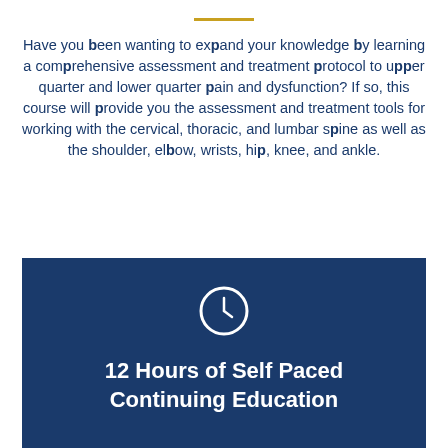Have you been wanting to expand your knowledge by learning a comprehensive assessment and treatment protocol to upper quarter and lower quarter pain and dysfunction? If so, this course will provide you the assessment and treatment tools for working with the cervical, thoracic, and lumbar spine as well as the shoulder, elbow, wrists, hip, knee, and ankle.
[Figure (infographic): Dark blue box with a clock icon and text '12 Hours of Self Paced Continuing Education' in white bold font.]